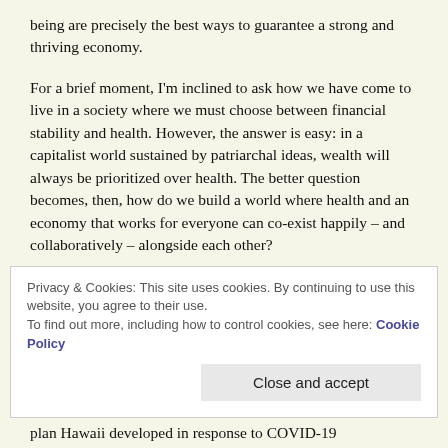being are precisely the best ways to guarantee a strong and thriving economy.
For a brief moment, I'm inclined to ask how we have come to live in a society where we must choose between financial stability and health. However, the answer is easy: in a capitalist world sustained by patriarchal ideas, wealth will always be prioritized over health. The better question becomes, then, how do we build a world where health and an economy that works for everyone can co-exist happily – and collaboratively – alongside each other?
Privacy & Cookies: This site uses cookies. By continuing to use this website, you agree to their use.
To find out more, including how to control cookies, see here: Cookie Policy
Close and accept
plan Hawaii developed in response to COVID-19